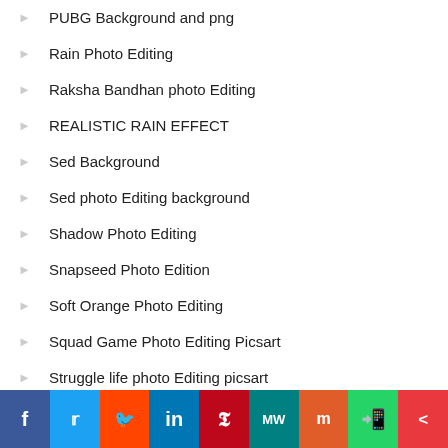PUBG Background and png
Rain Photo Editing
Raksha Bandhan photo Editing
REALISTIC RAIN EFFECT
Sed Background
Sed photo Editing background
Shadow Photo Editing
Snapseed Photo Edition
Soft Orange Photo Editing
Squad Game Photo Editing Picsart
Struggle life photo Editing picsart